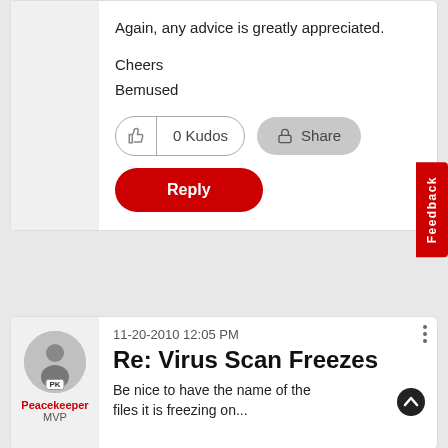Again, any advice is greatly appreciated.
Cheers
Bemused
0 Kudos
Share
Reply
Feedback
11-20-2010 12:05 PM
Re: Virus Scan Freezes
Be nice to have the name of the files it is freezing on...
Peacekeeper
MVP